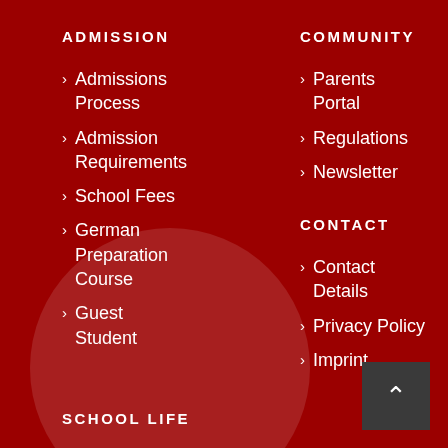ADMISSION
Admissions Process
Admission Requirements
School Fees
German Preparation Course
Guest Student
SCHOOL LIFE
News
COMMUNITY
Parents Portal
Regulations
Newsletter
CONTACT
Contact Details
Privacy Policy
Imprint